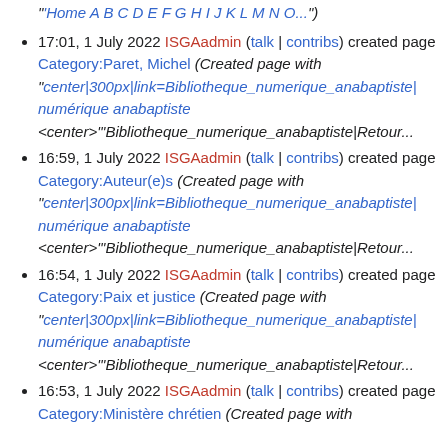"'Home A B C D E F G H I J K L M N O...")
17:01, 1 July 2022 ISGAadmin (talk | contribs) created page Category:Paret, Michel (Created page with "center|300px|link=Bibliotheque_numerique_anabaptiste| numérique anabaptiste <center>"'Bibliotheque_numerique_anabaptiste|Retour...
16:59, 1 July 2022 ISGAadmin (talk | contribs) created page Category:Auteur(e)s (Created page with "center|300px|link=Bibliotheque_numerique_anabaptiste| numérique anabaptiste <center>"'Bibliotheque_numerique_anabaptiste|Retour...
16:54, 1 July 2022 ISGAadmin (talk | contribs) created page Category:Paix et justice (Created page with "center|300px|link=Bibliotheque_numerique_anabaptiste| numérique anabaptiste <center>"'Bibliotheque_numerique_anabaptiste|Retour...
16:53, 1 July 2022 ISGAadmin (talk | contribs) created page Category:Ministère chrétien (Created page with